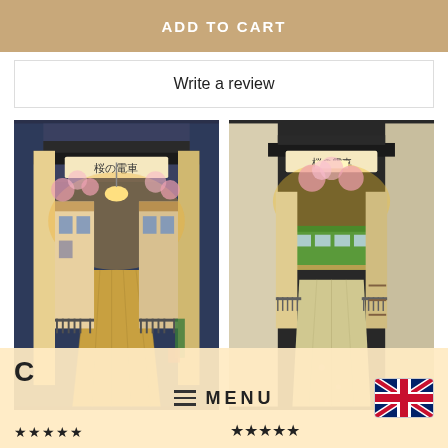ADD TO CART
Write a review
[Figure (photo): Left photo: Japanese miniature diorama book nook showing a detailed street scene lit from within, with cherry blossoms and Japanese signage]
[Figure (photo): Right photo: Same Japanese miniature diorama book nook from a slightly different angle, lit with warm light, cherry blossoms visible]
MENU
[Figure (illustration): UK flag emoji/icon]
★★★★★
★★★★★